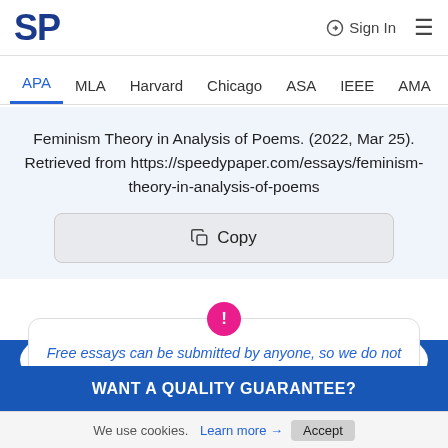SP | Sign In
APA  MLA  Harvard  Chicago  ASA  IEEE  AMA
Feminism Theory in Analysis of Poems. (2022, Mar 25). Retrieved from https://speedypaper.com/essays/feminism-theory-in-analysis-of-poems
Copy
Free essays can be submitted by anyone, so we do not vouch for their quality
WANT A QUALITY GUARANTEE?
We use cookies. Learn more → Accept